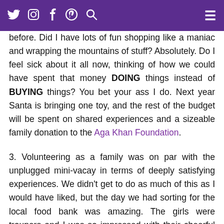toys and wrapping up the girls' old Ikea Kitchen and play food for the go who had never seen these treasures before.
Did I have lots of fun shopping like a maniac and wrapping the mountains of stuff? Absolutely. Do I feel sick about it all now, thinking of how we could have spent that money DOING things instead of BUYING things? You bet your ass I do. Next year Santa is bringing one toy, and the rest of the budget will be spent on shared experiences and a sizeable family donation to the Aga Khan Foundation.
3. Volunteering as a family was on par with the unplugged mini-vacay in terms of deeply satisfying experiences. We didn't get to do as much of this as I would have liked, but the day we had sorting for the local food bank was amazing. The girls were troupers and I was so impressed with their cheerful attitudes and work ethic. My goal is to find more of these opportunities in 2015, and help my eight year old and the...